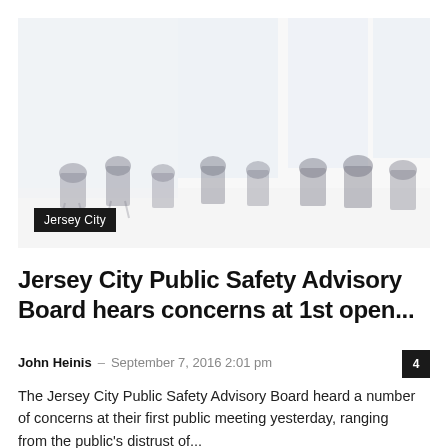[Figure (photo): A faded/washed-out photograph of people seated in a circle or meeting arrangement in a room with large windows, appearing to be a public meeting of some kind.]
Jersey City
Jersey City Public Safety Advisory Board hears concerns at 1st open...
John Heinis – September 7, 2016 2:01 pm
The Jersey City Public Safety Advisory Board heard a number of concerns at their first public meeting yesterday, ranging from the public's distrust of...